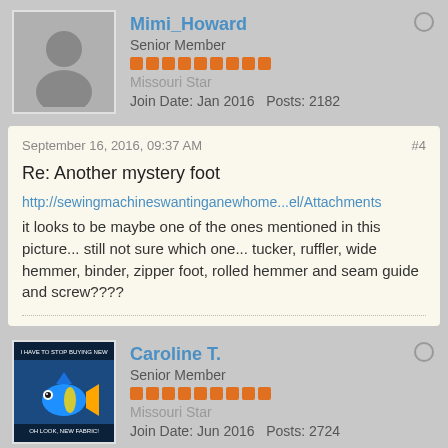Mimi_Howard
Senior Member
Missouri Star
Join Date: Jan 2016   Posts: 2182
September 16, 2016, 09:37 AM
#4
Re: Another mystery foot
http://sewingmachineswantinganewhome...el/Attachments
it looks to be maybe one of the ones mentioned in this picture... still not sure which one... tucker, ruffler, wide hemmer, binder, zipper foot, rolled hemmer and seam guide and screw????
Caroline T.
Senior Member
Missouri Star
Join Date: Jun 2016   Posts: 2724